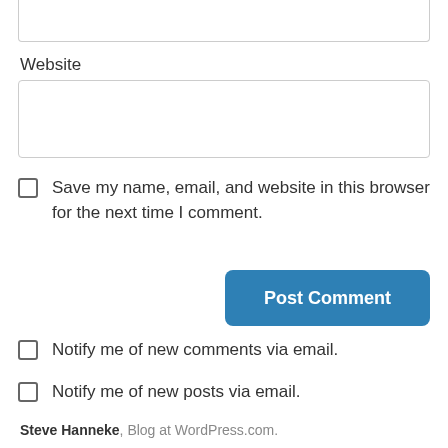Website
Save my name, email, and website in this browser for the next time I comment.
Post Comment
Notify me of new comments via email.
Notify me of new posts via email.
Steve Hanneke, Blog at WordPress.com.